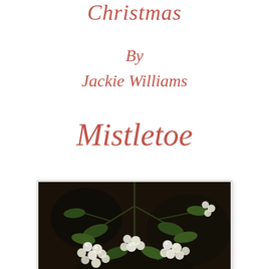Christmas
By
Jackie Williams
Mistletoe
[Figure (photo): Close-up photograph of mistletoe with white berries and green leaves against a dark background]